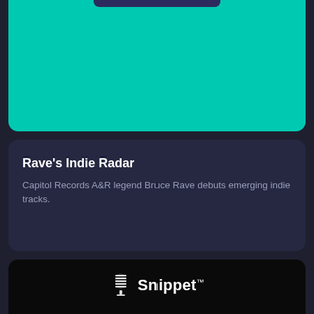[Figure (illustration): Top card with teal/cyan background and a dark purple navigation bar at the top]
Rave's Indie Radar
Capitol Records A&R legend Bruce Rave debuts emerging indie tracks.
[Figure (illustration): Snippet app card with logo (microphone icon and 'Snippet' wordmark) over a dark background with an illustration of a hand holding a teal vinyl record]